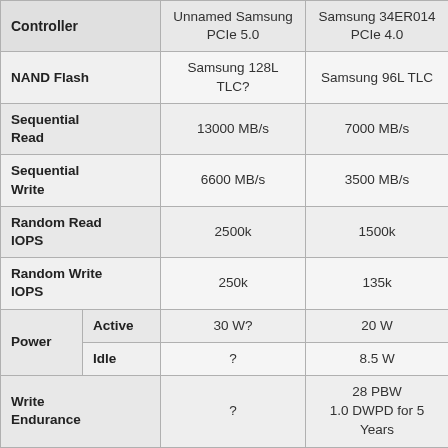| Controller | Unnamed Samsung PCIe 5.0 | Samsung 34ER014 PCIe 4.0 |
| --- | --- | --- |
| NAND Flash | Samsung 128L TLC? | Samsung 96L TLC |
| Sequential Read | 13000 MB/s | 7000 MB/s |
| Sequential Write | 6600 MB/s | 3500 MB/s |
| Random Read IOPS | 2500k | 1500k |
| Random Write IOPS | 250k | 135k |
| Power / Active | 30 W? | 20 W |
| Power / Idle | ? | 8.5 W |
| Write Endurance | ? | 28 PBW
1.0 DWPD for 5 Years |
The updated Samsung controller is also embedding its own security processor and root of trust. Samsung's announcement is light on the details, but at a high level, the company is doubling